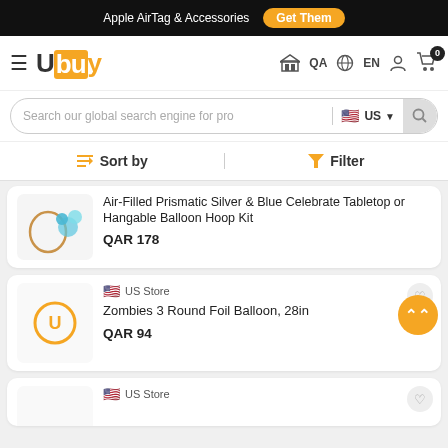Apple AirTag & Accessories  Get Them
[Figure (logo): Ubuy logo with orange/yellow square highlight on 'bu' letters]
≡  QA  EN  (user icon)  (cart icon) 0
Search our global search engine for pro  US
Sort by  Filter
Air-Filled Prismatic Silver & Blue Celebrate Tabletop or Hangable Balloon Hoop Kit
QAR 178
US Store
Zombies 3 Round Foil Balloon, 28in
QAR 94
US Store